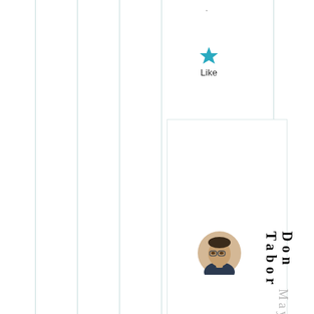[Figure (other): Small dot/period character near top center-right of page]
[Figure (other): Teal/blue star icon with 'Like' label below it]
Like
[Figure (other): White card/panel with border]
[Figure (photo): Circular profile photo of an Asian man wearing glasses and a dark suit]
Don Tabor
May